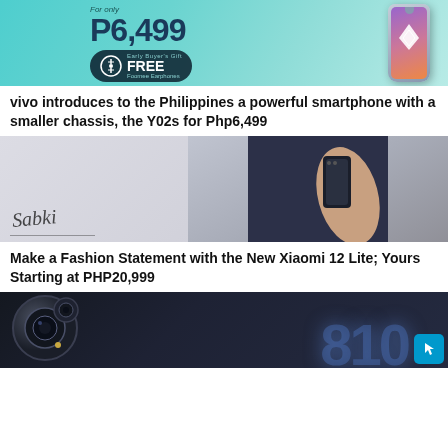[Figure (photo): vivo Y02s promotional banner with teal gradient background, showing price P6,499 and Early Buyer's Gift of FREE Foomee Earphones, with a vivo smartphone display]
vivo introduces to the Philippines a powerful smartphone with a smaller chassis, the Y02s for Php6,499
[Figure (photo): Xiaomi 12 Lite promotional image showing a woman in dark outfit holding the Xiaomi 12 Lite smartphone, with a signature overlay]
Make a Fashion Statement with the New Xiaomi 12 Lite; Yours Starting at PHP20,999
[Figure (photo): Dark promotional image showing close-up of a smartphone camera module with large '810' text in blue glowing style on the right side]